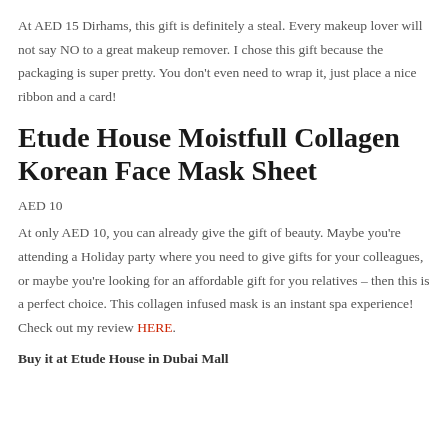At AED 15 Dirhams, this gift is definitely a steal. Every makeup lover will not say NO to a great makeup remover. I chose this gift because the packaging is super pretty. You don't even need to wrap it, just place a nice ribbon and a card!
Etude House Moistfull Collagen Korean Face Mask Sheet
AED 10
At only AED 10, you can already give the gift of beauty. Maybe you're attending a Holiday party where you need to give gifts for your colleagues, or maybe you're looking for an affordable gift for you relatives – then this is a perfect choice. This collagen infused mask is an instant spa experience! Check out my review HERE.
Buy it at Etude House in Dubai Mall